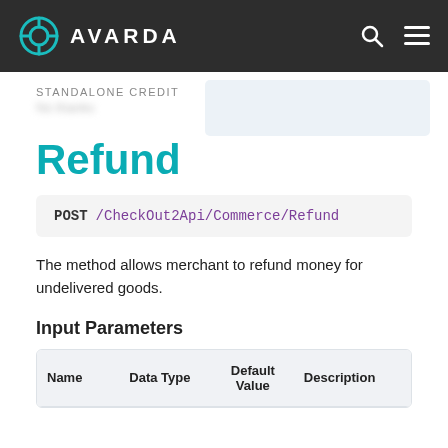AVARDA
STANDALONE CREDIT
Refund
POST /CheckOut2Api/Commerce/Refund
The method allows merchant to refund money for undelivered goods.
Input Parameters
| Name | Data Type | Default Value | Description |
| --- | --- | --- | --- |